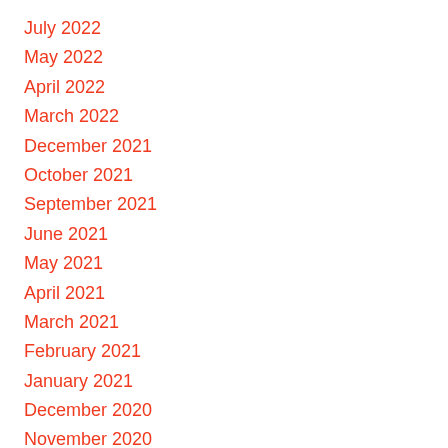July 2022
May 2022
April 2022
March 2022
December 2021
October 2021
September 2021
June 2021
May 2021
April 2021
March 2021
February 2021
January 2021
December 2020
November 2020